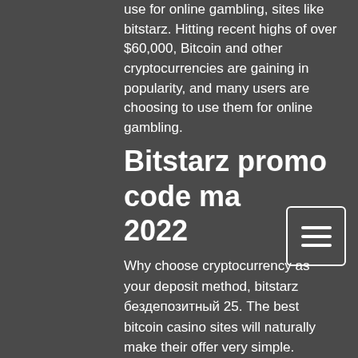use for online gambling, sites like bitstarz. Hitting recent highs of over $60,000, Bitcoin and other cryptocurrencies are gaining in popularity, and many users are choosing to use them for online gambling.
Bitstarz promo code ma 2022
Why choose cryptocurrency as your deposit method, bitstarz бездепозитный 25. The best bitcoin casino sites will naturally make their offer very simple. Anonymity ' some, but not all, crypto casinos and gambling sites will allow you to deposit funds and play without verifying your identity, which is great if you. The dice industry has since expanded enormously, and smart contract gambling sites like etheroll and vdice have together raised millions of dollars in their. Their fairness when played at bitcoin gambling sites, bitstarz free chip 2020. Sites like